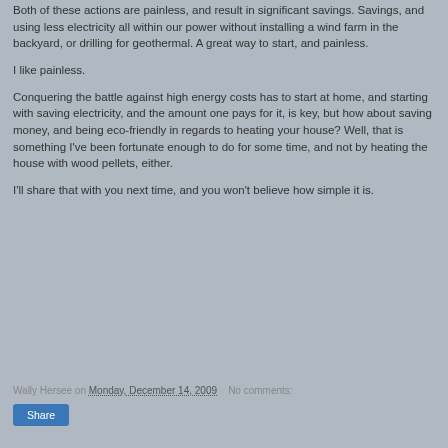Both of these actions are painless, and result in significant savings. Savings, and using less electricity all within our power without installing a wind farm in the backyard, or drilling for geothermal. A great way to start, and painless.
I like painless.
Conquering the battle against high energy costs has to start at home, and starting with saving electricity, and the amount one pays for it, is key, but how about saving money, and being eco-friendly in regards to heating your house? Well, that is something I've been fortunate enough to do for some time, and not by heating the house with wood pellets, either.
I'll share that with you next time, and you won't believe how simple it is.
Wally Hersee on Monday, December 14, 2009   No comments:
Share